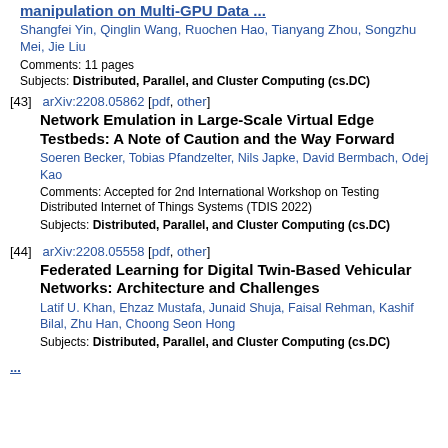manipulation on Multi-GPU Data ...
Shangfei Yin, Qinglin Wang, Ruochen Hao, Tianyang Zhou, Songzhu Mei, Jie Liu
Comments: 11 pages
Subjects: Distributed, Parallel, and Cluster Computing (cs.DC)
[43] arXiv:2208.05862 [pdf, other] Network Emulation in Large-Scale Virtual Edge Testbeds: A Note of Caution and the Way Forward. Soeren Becker, Tobias Pfandzelter, Nils Japke, David Bermbach, Odej Kao. Comments: Accepted for 2nd International Workshop on Testing Distributed Internet of Things Systems (TDIS 2022). Subjects: Distributed, Parallel, and Cluster Computing (cs.DC)
[44] arXiv:2208.05558 [pdf, other] Federated Learning for Digital Twin-Based Vehicular Networks: Architecture and Challenges. Latif U. Khan, Ehzaz Mustafa, Junaid Shuja, Faisal Rehman, Kashif Bilal, Zhu Han, Choong Seon Hong. Subjects: Distributed, Parallel, and Cluster Computing (cs.DC)